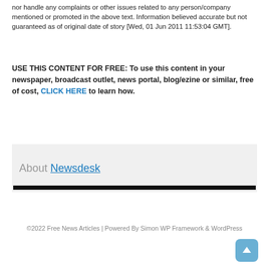nor handle any complaints or other issues related to any person/company mentioned or promoted in the above text. Information believed accurate but not guaranteed as of original date of story [Wed, 01 Jun 2011 11:53:04 GMT].
USE THIS CONTENT FOR FREE: To use this content in your newspaper, broadcast outlet, news portal, blog/ezine or similar, free of cost, CLICK HERE to learn how.
About Newsdesk
©2022 Free News Articles | Powered By Simon WP Framework & WordPress